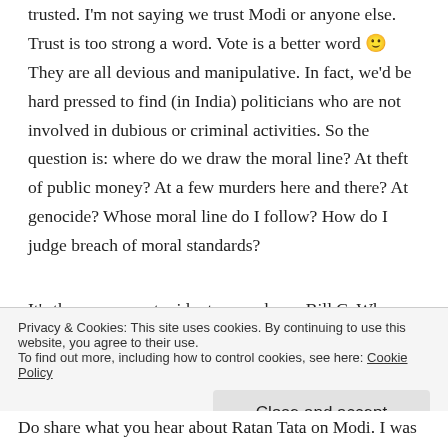trusted. I'm not saying we trust Modi or anyone else. Trust is too strong a word. Vote is a better word 🙂 They are all devious and manipulative. In fact, we'd be hard pressed to find (in India) politicians who are not involved in dubious or criminal activities. So the question is: where do we draw the moral line? At theft of public money? At a few murders here and there? At genocide? Whose moral line do I follow? How do I judge breach of moral standards?
It's the economy stupid – to paraphrase Bill C. When the economy goes down the toilet, that's when the crazies get to come out and play. The sooner we fix things and move the country along, we will unleash forces which will weed out polarizing figures like Modi and hypocritical figures (like
Privacy & Cookies: This site uses cookies. By continuing to use this website, you agree to their use.
To find out more, including how to control cookies, see here: Cookie Policy
Close and accept
Do share what you hear about Ratan Tata on Modi. I was